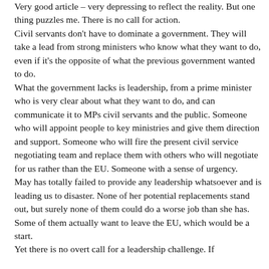Very good article – very depressing to reflect the reality. But one thing puzzles me. There is no call for action. Civil servants don't have to dominate a government. They will take a lead from strong ministers who know what they want to do, even if it's the opposite of what the previous government wanted to do. What the government lacks is leadership, from a prime minister who is very clear about what they want to do, and can communicate it to MPs civil servants and the public. Someone who will appoint people to key ministries and give them direction and support. Someone who will fire the present civil service negotiating team and replace them with others who will negotiate for us rather than the EU. Someone with a sense of urgency. May has totally failed to provide any leadership whatsoever and is leading us to disaster. None of her potential replacements stand out, but surely none of them could do a worse job than she has. Some of them actually want to leave the EU, which would be a start. Yet there is no overt call for a leadership challenge. If